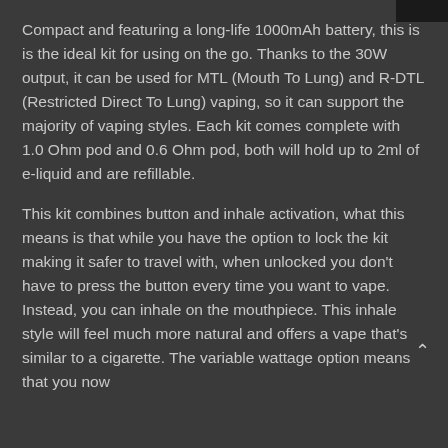Compact and featuring a long-life 1000mAh battery, this is is the ideal kit for using on the go. Thanks to the 30W output, it can be used for MTL (Mouth To Lung) and R-DTL (Restricted Direct To Lung) vaping, so it can support the majority of vaping styles. Each kit comes complete with 1.0 Ohm pod and 0.6 Ohm pod, both will hold up to 2ml of e-liquid and are refillable.
This kit combines button and inhale activation, what this means is that while you have the option to lock the kit making it safer to travel with, when unlocked you don't have to press the button every time you want to vape. Instead, you can inhale on the mouthpiece. This inhale style will feel much more natural and offers a vape that's similar to a cigarette. The variable wattage option means that you now